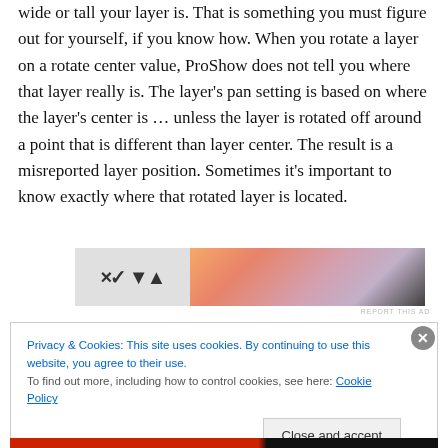wide or tall your layer is. That is something you must figure out for yourself, if you know how. When you rotate a layer on a rotate center value, ProShow does not tell you where that layer really is. The layer's pan setting is based on where the layer's center is … unless the layer is rotated off around a point that is different than layer center. The result is a misreported layer position. Sometimes it's important to know exactly where that rotated layer is located.
[Figure (other): Advertisement banner with stylized WP logo on left and gradient orange/pink/purple/dark graphic on right. 'REPORT THIS AD' text below.]
Privacy & Cookies: This site uses cookies. By continuing to use this website, you agree to their use.
To find out more, including how to control cookies, see here: Cookie Policy
Close and accept